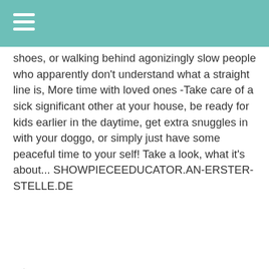[Figure (other): Teal/turquoise navigation bar with white hamburger menu icon (three horizontal lines)]
shoes, or walking behind agonizingly slow people who apparently don't understand what a straight line is, More time with loved ones -Take care of a sick significant other at your house, be ready for kids earlier in the daytime, get extra snuggles in with your doggo, or simply just have some peaceful time to your self! Take a look, what it's about... SHOWPIECEEDUCATOR.AN-ERSTER-STELLE.DE
∧ | ∨   Reply
Subscribe   Add Disqus   Do Not Sell My Data   DISQUS